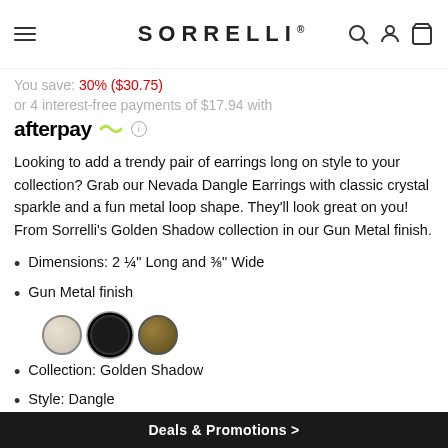SORRELLI
You save: 30% ($30.75)
or 4 interest-free payments of $17.94 with
afterpay
Looking to add a trendy pair of earrings long on style to your collection? Grab our Nevada Dangle Earrings with classic crystal sparkle and a fun metal loop shape. They'll look great on you! From Sorrelli's Golden Shadow collection in our Gun Metal finish.
Dimensions: 2 ¼" Long and ⅜" Wide
Gun Metal finish
[Figure (other): Three color swatches: silver/cream, dark/black (selected), and gold/olive]
Collection: Golden Shadow
Style: Dangle
SKU: EEU72GMGNS
In Stock - Ships Tomorrow
Deals & Promotions >